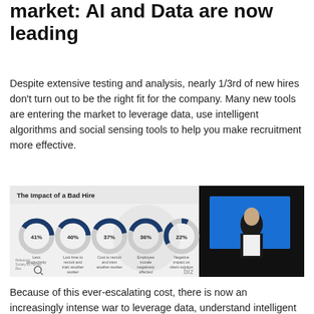market: AI and Data are now leading
Despite extensive testing and analysis, nearly 1/3rd of new hires don't turn out to be the right fit for the company. Many new tools are entering the market to leverage data, use intelligent algorithms and social sensing tools to help you make recruitment more effective.
[Figure (infographic): Infographic titled 'The Impact of a Bad Hire' showing 5 donut charts with percentages: 41% Less productivity, 40% Lost time to recruit and train another worker, 37% Cost to recruit and train another worker, 36% Employee morale negatively affected, 22% Negative impact on client solution. Right half shows a man in a suit presenting at a conference with a blue background.]
Because of this ever-escalating cost, there is now an increasingly intense war to leverage data, understand intelligent algorithms and make